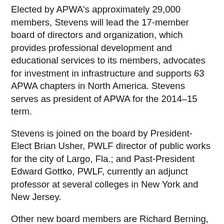Elected by APWA's approximately 29,000 members, Stevens will lead the 17-member board of directors and organization, which provides professional development and educational services to its members, advocates for investment in infrastructure and supports 63 APWA chapters in North America. Stevens serves as president of APWA for the 2014–15 term.
Stevens is joined on the board by President- Elect Brian Usher, PWLF director of public works for the city of Largo, Fla.; and Past-President Edward Gottko, PWLF, currently an adjunct professor at several colleges in New York and New Jersey.
Other new board members are Richard Berning, retired, of Springfield, Ill.; Mary Joyce Ivers, CPFP, PWLF, Ventura, Calif.; Kathleen Davis, Olympia, Wash.; and Maher Hazine, P.E., PWLF, Pine, Ariz.Re-elected board members are David Lawry, P.E., Shaumburg, Ill.; William Spearman, III, P.E, Columbia, S.C.; Cora Jackson-Fossett, retired; William